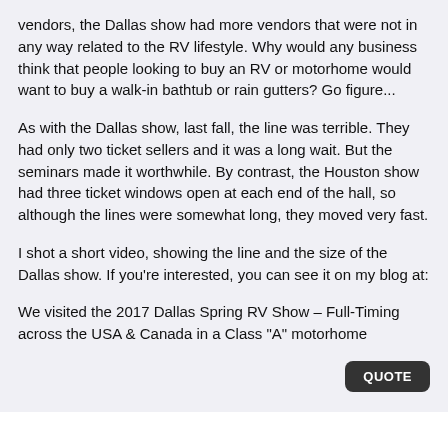vendors, the Dallas show had more vendors that were not in any way related to the RV lifestyle. Why would any business think that people looking to buy an RV or motorhome would want to buy a walk-in bathtub or rain gutters? Go figure...
As with the Dallas show, last fall, the line was terrible. They had only two ticket sellers and it was a long wait. But the seminars made it worthwhile. By contrast, the Houston show had three ticket windows open at each end of the hall, so although the lines were somewhat long, they moved very fast.
I shot a short video, showing the line and the size of the Dallas show. If you're interested, you can see it on my blog at:
We visited the 2017 Dallas Spring RV Show – Full-Timing across the USA & Canada in a Class "A" motorhome